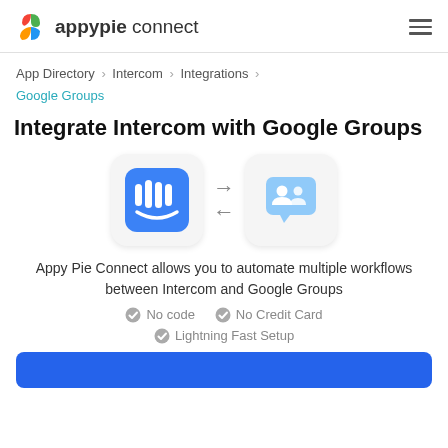appypie connect
App Directory > Intercom > Integrations > Google Groups
Integrate Intercom with Google Groups
[Figure (illustration): Intercom app icon (blue with white vertical bars) and Google Groups icon connected by bidirectional arrows]
Appy Pie Connect allows you to automate multiple workflows between Intercom and Google Groups
No code
No Credit Card
Lightning Fast Setup